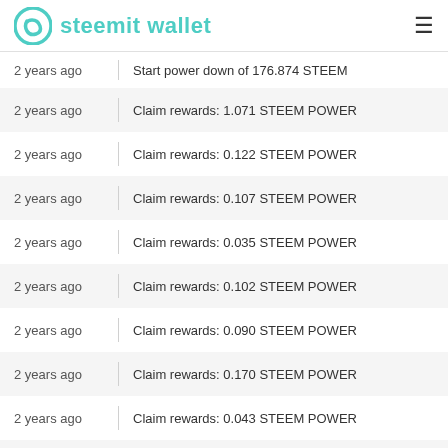steemit wallet
2 years ago | Start power down of 176.874 STEEM
2 years ago | Claim rewards: 1.071 STEEM POWER
2 years ago | Claim rewards: 0.122 STEEM POWER
2 years ago | Claim rewards: 0.107 STEEM POWER
2 years ago | Claim rewards: 0.035 STEEM POWER
2 years ago | Claim rewards: 0.102 STEEM POWER
2 years ago | Claim rewards: 0.090 STEEM POWER
2 years ago | Claim rewards: 0.170 STEEM POWER
2 years ago | Claim rewards: 0.043 STEEM POWER
2 years ago | Claim rewards: 0.089 STEEM POWER